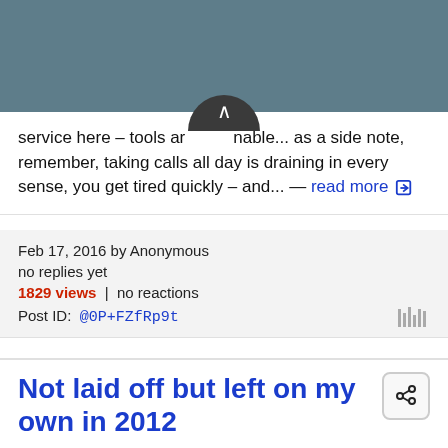service here – tools are unable... as a side note, remember, taking calls all day is draining in every sense, you get tired quickly – and... — read more
Feb 17, 2016 by Anonymous
no replies yet
1829 views | no reactions
Post ID: @0P+FZfRp9t
Not laid off but left on my own in 2012
Used to work there, it was cool, most of the time. It's very fast paced, sometimes it's nuts... There is